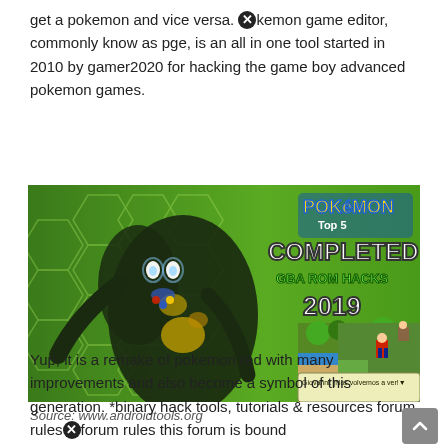get a pokemon and vice versa. ✕kemon game editor, commonly know as pge, is an all in one tool started in 2010 by gamer2020 for hacking the game boy advanced pokemon games.
[Figure (screenshot): Screenshot of a Pokemon Top 5 Completed GBA ROM Hacks 2019 video thumbnail featuring a dark dragon-type Pokemon (Rayquaza) on a green hexagon background left side, and a GBA-style top-down game screenshot on the right, with a dialogue box reading 'Giovanni: |Nos volvemos a ver!'.]
Source: www.androidtools.org
Yup, it is a remake of pokemon red with many improvements and also become a symbol of this generation. *binary hack tools, tutorials & resources forum rules✕forum rules this forum is bound